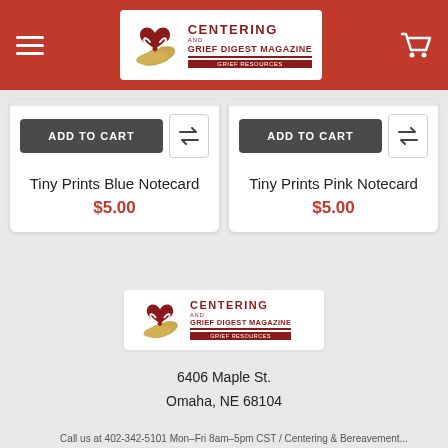[Figure (logo): Centering and Grief Digest Magazine logo in header nav bar on red background]
ADD TO CART
ADD TO CART
Tiny Prints Blue Notecard
$5.00
Tiny Prints Pink Notecard
$5.00
[Figure (logo): Centering and Grief Digest Magazine logo in footer]
6406 Maple St.
Omaha, NE 68104